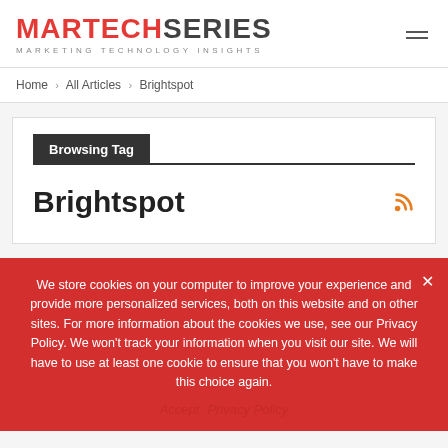MARTECHSERIES MARKETING TECHNOLOGY INSIGHTS
Home > All Articles > Brightspot
Browsing Tag
Brightspot
We store cookies on your computer to improve your experience and provide more personalized services, both on this website and on other sites. For more information about the cookies we use, see our Privacy Policy. We won't track your information when you visit our site. We will have to use at least one cookie to ensure that you won't have to make this choice again.
Accept  Privacy Policy